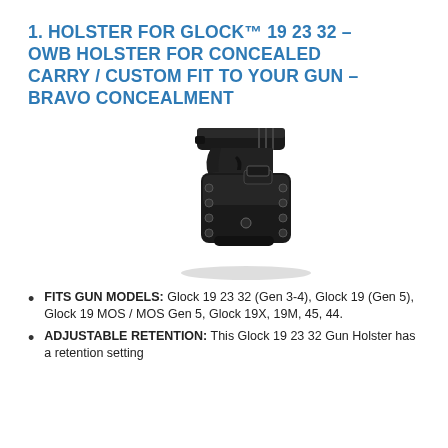1. HOLSTER FOR GLOCK™ 19 23 32 – OWB HOLSTER FOR CONCEALED CARRY / CUSTOM FIT TO YOUR GUN – BRAVO CONCEALMENT
[Figure (photo): Black OWB (outside waistband) holster with a black pistol (Glock) inserted, showing a Kydex-style holster with belt attachment and retention screws.]
FITS GUN MODELS: Glock 19 23 32 (Gen 3-4), Glock 19 (Gen 5), Glock 19 MOS / MOS Gen 5, Glock 19X, 19M, 45, 44.
ADJUSTABLE RETENTION: This Glock 19 23 32 Gun Holster has a retention setting